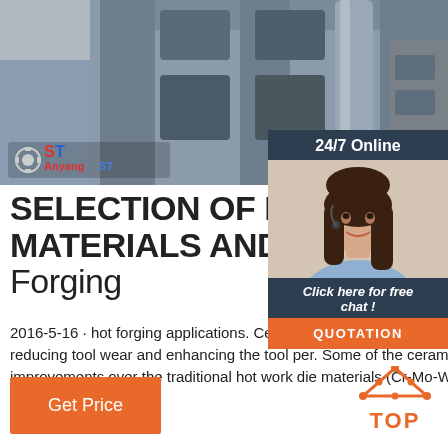[Figure (photo): Photo of a forging machine/press equipment in a factory setting. Grey metal machinery with rectangular openings visible. 'Anyang ST' logo with gear icon visible in lower-left of photo.]
SELECTION OF DIE MATERIALS AND SURFACE Forging
2016-5-16 · hot forging applications. Ceramic coatings are well established in the machining reducing tool wear and enhancing the tool per. Some of the ceramic materials have marked improvements over the traditional hot work die materials (Cr-Mo-W based steels) used in hot forging.
[Figure (photo): Customer service representative (woman with headset, smiling) with '24/7 Online' header, 'Click here for free chat!' text, and orange QUOTATION button.]
Get Price
[Figure (other): Orange triangle/chevron TOP icon with dots, indicating scroll to top.]